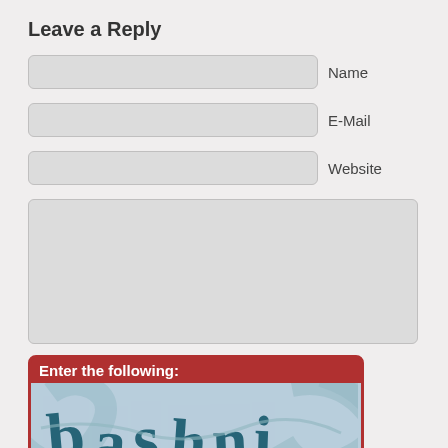Leave a Reply
[Figure (screenshot): Web comment form with fields for Name, E-Mail, Website, a large text area, and a CAPTCHA image showing the text 'bashni' on a light blue background with decorative swirls, surrounded by a red border with header 'Enter the following:']